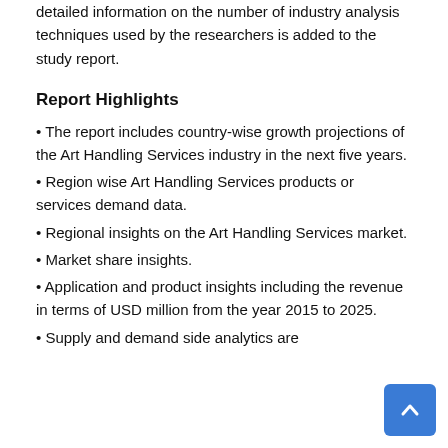detailed information on the number of industry analysis techniques used by the researchers is added to the study report.
Report Highlights
The report includes country-wise growth projections of the Art Handling Services industry in the next five years.
Region wise Art Handling Services products or services demand data.
Regional insights on the Art Handling Services market.
Market share insights.
Application and product insights including the revenue in terms of USD million from the year 2015 to 2025.
Supply and demand side analytics are